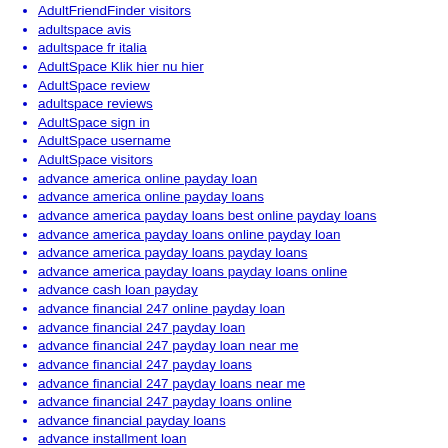AdultFriendFinder visitors
adultspace avis
adultspace fr italia
AdultSpace Klik hier nu hier
AdultSpace review
adultspace reviews
AdultSpace sign in
AdultSpace username
AdultSpace visitors
advance america online payday loan
advance america online payday loans
advance america payday loans best online payday loans
advance america payday loans online payday loan
advance america payday loans payday loans
advance america payday loans payday loans online
advance cash loan payday
advance financial 247 online payday loan
advance financial 247 payday loan
advance financial 247 payday loan near me
advance financial 247 payday loans
advance financial 247 payday loans near me
advance financial 247 payday loans online
advance financial payday loans
advance installment loan